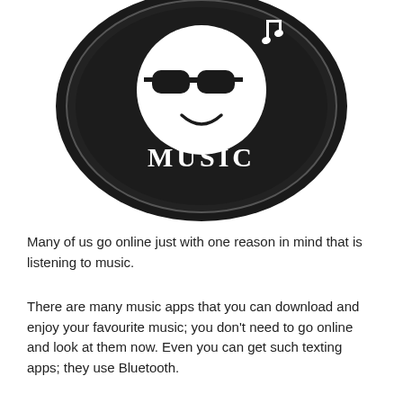[Figure (illustration): A round black disc/button featuring a stylized white cartoon face wearing sunglasses, with a musical note symbol to the upper right, and the word MUSIC printed in white serif text at the bottom of the disc. The disc has a subtle circular ridge/border and a dark textured surface.]
Many of us go online just with one reason in mind that is listening to music.
There are many music apps that you can download and enjoy your favourite music; you don't need to go online and look at them now. Even you can get such texting apps; they use Bluetooth.